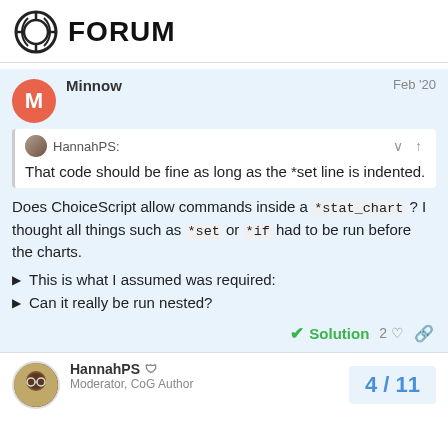FORUM
Minnow  Feb '20
HannahPS: That code should be fine as long as the *set line is indented.
Does ChoiceScript allow commands inside a *stat_chart ? I thought all things such as *set or *if had to be run before the charts.
This is what I assumed was required:
Can it really be run nested?
Solution  2
HannahPS  Moderator, CoG Author  4 / 11